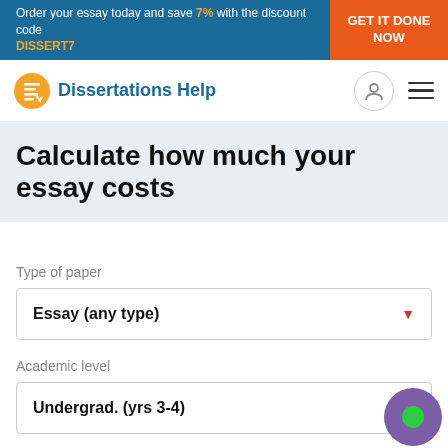Order your essay today and save 7% with the discount code DISSERT7 GET IT DONE NOW
[Figure (logo): Dissertations Help logo with yellow circle icon and blue text]
Calculate how much your essay costs
Type of paper
Essay (any type)
Academic level
Undergrad. (yrs 3-4)
Deadline